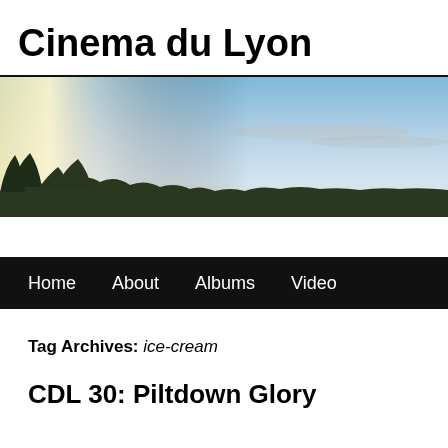Cinema du Lyon
[Figure (photo): Panoramic landscape photo showing a sunset or dawn sky with blue and light tones, silhouetted trees and hills at the bottom]
Home   About   Albums   Video
Tag Archives: ice-cream
CDL 30: Piltdown Glory